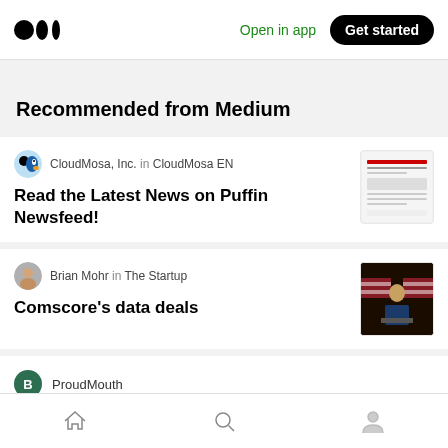Medium logo | Open in app | Get started
Recommended from Medium
CloudMosa, Inc. in CloudMosa EN — Read the Latest News on Puffin Newsfeed!
Brian Mohr in The Startup — Comscore's data deals
ProudMouth
Home | Search | Profile